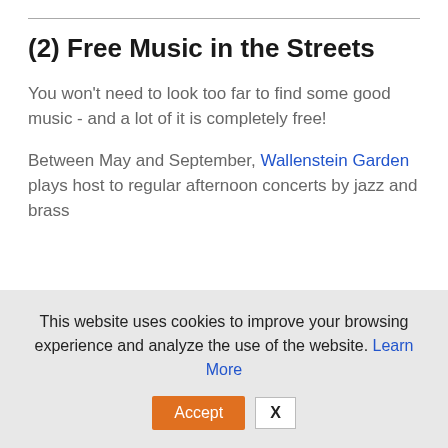(2) Free Music in the Streets
You won't need to look too far to find some good music - and a lot of it is completely free!
Between May and September, Wallenstein Garden plays host to regular afternoon concerts by jazz and brass
This website uses cookies to improve your browsing experience and analyze the use of the website. Learn More
Accept  X